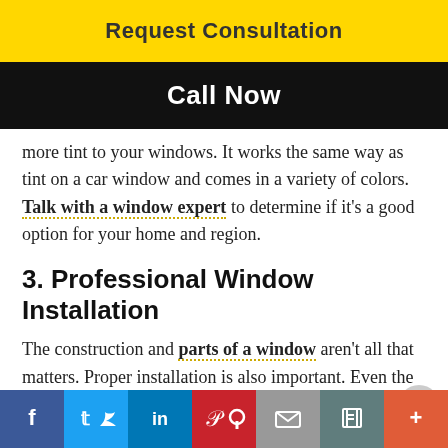Request Consultation
Call Now
more tint to your windows. It works the same way as tint on a car window and comes in a variety of colors. Talk with a window expert to determine if it's a good option for your home and region.
3. Professional Window Installation
The construction and parts of a window aren't all that matters. Proper installation is also important. Even the most energy-efficient window can lose its